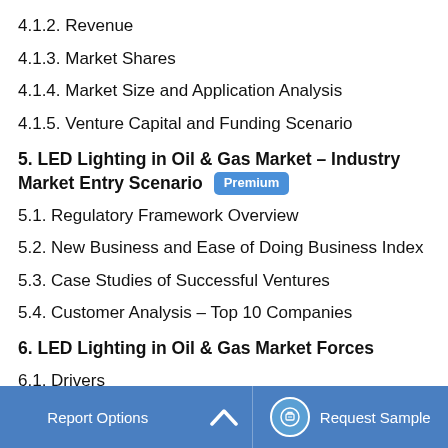4.1.2. Revenue
4.1.3. Market Shares
4.1.4. Market Size and Application Analysis
4.1.5. Venture Capital and Funding Scenario
5. LED Lighting in Oil & Gas Market – Industry Market Entry Scenario [Premium]
5.1. Regulatory Framework Overview
5.2. New Business and Ease of Doing Business Index
5.3. Case Studies of Successful Ventures
5.4. Customer Analysis – Top 10 Companies
6. LED Lighting in Oil & Gas Market Forces
6.1. Drivers
6.2. Constraints
6.3. Challenges
6.4. Porter's Five Force Model
Report Options  ^  Request Sample